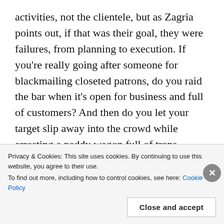activities, not the clientele, but as Zagria points out, if that was their goal, they were failures, from planning to execution. If you're really going after someone for blackmailing closeted patrons, do you raid the bar when it's open for business and full of customers? And then do you let your target slip away into the crowd while arresting a paddy wagon full of trans patrons?
The predation of both the police and the mafia were the targets of the fury that was unleashed when police raided the Stonewall Inn in June, 1969.
Privacy & Cookies: This site uses cookies. By continuing to use this website, you agree to their use.
To find out more, including how to control cookies, see here: Cookie Policy